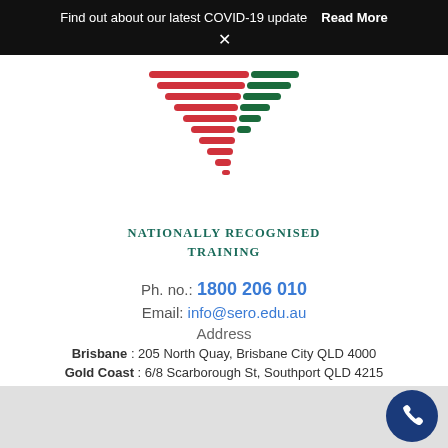Find out about our latest COVID-19 update   Read More
[Figure (logo): Nationally Recognised Training logo with red and green horizontal stripe chevron pattern]
NATIONALLY RECOGNISED TRAINING
Ph. no.: 1800 206 010
Email: info@sero.edu.au
Address
Brisbane : 205 North Quay, Brisbane City QLD 4000
Gold Coast : 6/8 Scarborough St, Southport QLD 4215
[Figure (illustration): Dark blue circular phone call button with white telephone handset icon]